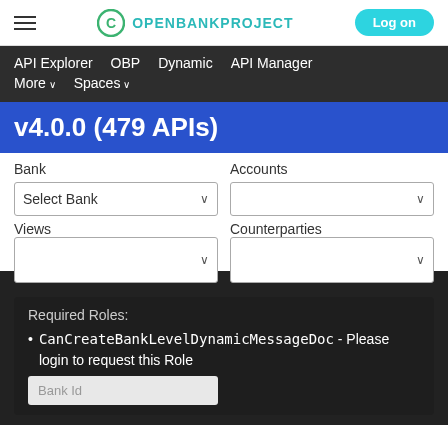OPENBANKPROJECT  Log on
API Explorer  OBP  Dynamic  API Manager  More  Spaces
v4.0.0 (479 APIs)
Bank  Accounts  Select Bank  Views  Counterparties
Required Roles:
• CanCreateBankLevelDynamicMessageDoc - Please login to request this Role
Bank Id